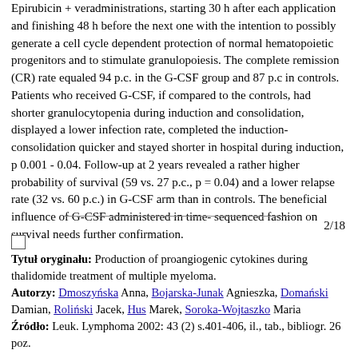Epirubicin + veradministrations, starting 30 h after each application and finishing 48 h before the next one with the intention to possibly generate a cell cycle dependent protection of normal hematopoietic progenitors and to stimulate granulopoiesis. The complete remission (CR) rate equaled 94 p.c. in the G-CSF group and 87 p.c in controls. Patients who received G-CSF, if compared to the controls, had shorter granulocytopenia during induction and consolidation, displayed a lower infection rate, completed the induction-consolidation quicker and stayed shorter in hospital during induction, p 0.001 - 0.04. Follow-up at 2 years revealed a rather higher probability of survival (59 vs. 27 p.c., p = 0.04) and a lower relapse rate (32 vs. 60 p.c.) in G-CSF arm than in controls. The beneficial influence of G-CSF administered in time-sequenced fashion on survival needs further confirmation.
2/18
Tytuł oryginału: Production of proangiogenic cytokines during thalidomide treatment of multiple myeloma.
Autorzy: Dmoszyńska Anna, Bojarska-Junak Agnieszka, Domański Damian, Roliński Jacek, Hus Marek, Soroka-Wojtaszko Maria
Źródło: Leuk. Lymphoma 2002: 43 (2) s.401-406, il., tab., bibliogr. 26 poz.